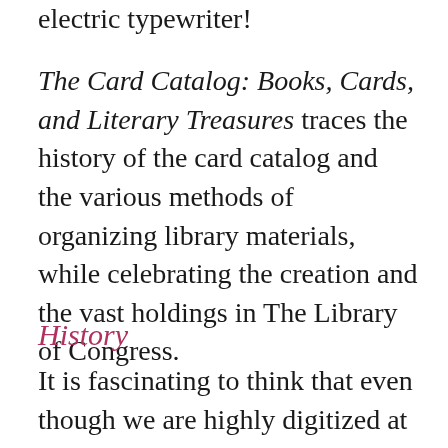electric typewriter!
The Card Catalog: Books, Cards, and Literary Treasures traces the history of the card catalog and the various methods of organizing library materials, while celebrating the creation and the vast holdings in The Library of Congress.
History
It is fascinating to think that even though we are highly digitized at this point, we still use the same, but expanded foundation Zenodotus, the first librarian at the library